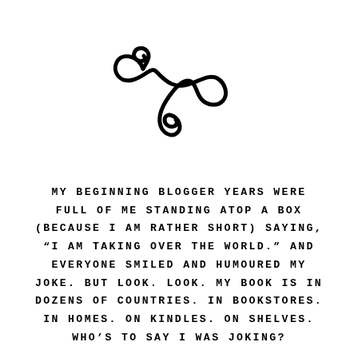[Figure (illustration): Decorative calligraphic flourish/ornament — a swirling infinity-like scroll design in black]
MY BEGINNING BLOGGER YEARS WERE FULL OF ME STANDING ATOP A BOX (BECAUSE I AM RATHER SHORT) SAYING, “I AM TAKING OVER THE WORLD.” AND EVERYONE SMILED AND HUMOURED MY JOKE. BUT LOOK. LOOK. MY BOOK IS IN DOZENS OF COUNTRIES. IN BOOKSTORES. IN HOMES. ON KINDLES. ON SHELVES. WHO’S TO SAY I WAS JOKING?